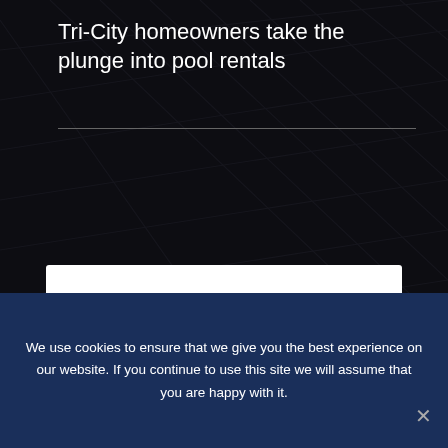Tri-City homeowners take the plunge into pool rentals
[Figure (illustration): Newspaper/subscribe icon with grid lines representing content columns]
Subscribe Now
[Figure (illustration): Circular target/radio icon in dark blue]
We use cookies to ensure that we give you the best experience on our website. If you continue to use this site we will assume that you are happy with it.